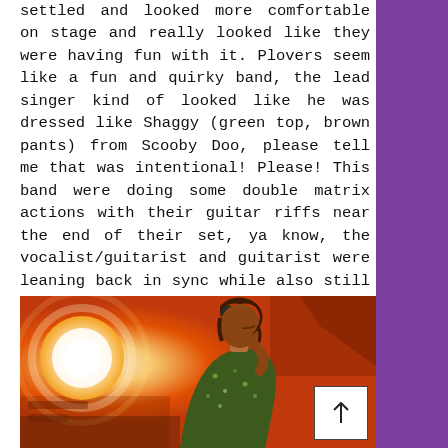settled and looked more comfortable on stage and really looked like they were having fun with it. Plovers seem like a fun and quirky band, the lead singer kind of looked like he was dressed like Shaggy (green top, brown pants) from Scooby Doo, please tell me that was intentional! Please! This band were doing some double matrix actions with their guitar riffs near the end of their set, ya know, the vocalist/guitarist and guitarist were leaning back in sync while also still playing.
[Figure (photo): A musician with medium-length hair leaning toward a microphone on stage, lit by warm orange stage lighting, wearing a floral/patterned shirt. There is a bright white spotlight in the background left. A back-to-top arrow button is overlaid in the lower right of the image.]